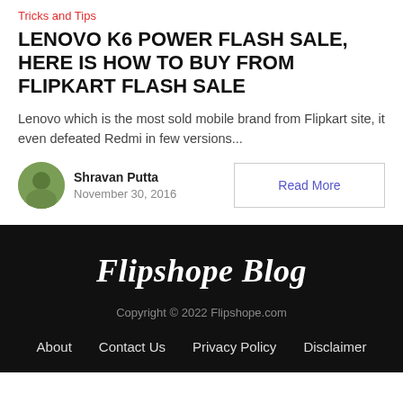Tricks and Tips
LENOVO K6 POWER FLASH SALE, HERE IS HOW TO BUY FROM FLIPKART FLASH SALE
Lenovo which is the most sold mobile brand from Flipkart site, it even defeated Redmi in few versions...
Shravan Putta
November 30, 2016
Read More
Flipshope Blog
Copyright © 2022 Flipshope.com
About   Contact Us   Privacy Policy   Disclaimer